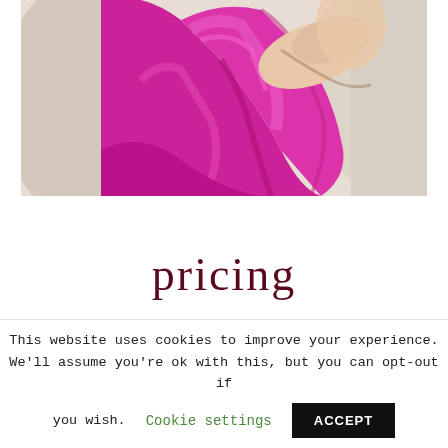[Figure (photo): A woman wearing a bright magenta/pink satin dress or outfit, reclining on a cream/beige sofa or cushions. The image is cropped to show the torso and arms area.]
pricing
This website uses cookies to improve your experience. We'll assume you're ok with this, but you can opt-out if you wish. Cookie settings ACCEPT